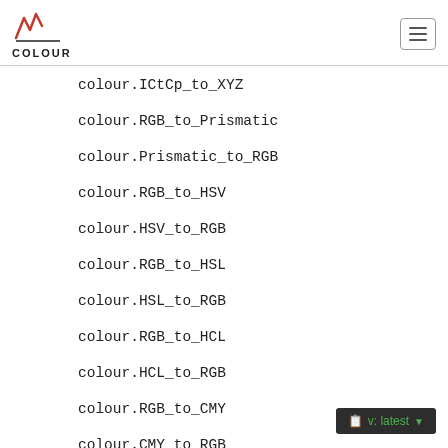COLOUR
colour.ICtCp_to_XYZ
colour.RGB_to_Prismatic
colour.Prismatic_to_RGB
colour.RGB_to_HSV
colour.HSV_to_RGB
colour.RGB_to_HSL
colour.HSL_to_RGB
colour.RGB_to_HCL
colour.HCL_to_RGB
colour.RGB_to_CMY
colour.CMY_to_RGB
colour.CMY_to_CMYK
colour.CMYK_to_CMY